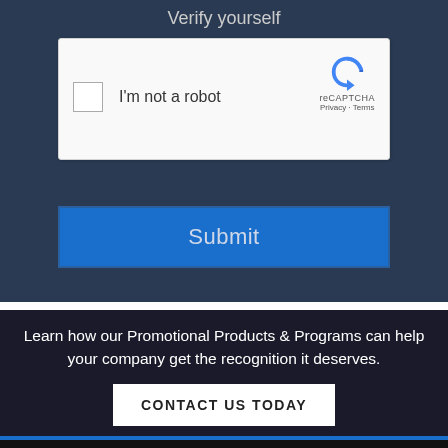Verify yourself
[Figure (screenshot): reCAPTCHA widget with checkbox labeled 'I'm not a robot', reCAPTCHA logo, Privacy and Terms links]
Submit
Learn how our Promotional Products & Programs can help your company get the recognition it deserves.
CONTACT US TODAY